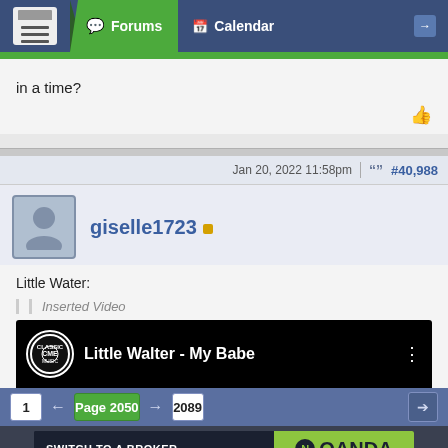Forums | Calendar
in a time?
Jan 20, 2022 11:58pm  #40,988
giselle1723
Little Water:
[Figure (screenshot): YouTube video thumbnail for 'Little Walter - My Babe' showing the CME logo and text 'LITTLE WALTER' on black background]
Inserted Video
1  ←  Page 2050  →  2089